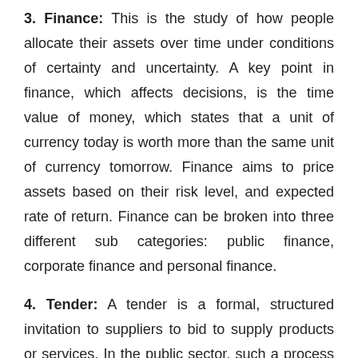3. Finance: This is the study of how people allocate their assets over time under conditions of certainty and uncertainty. A key point in finance, which affects decisions, is the time value of money, which states that a unit of currency today is worth more than the same unit of currency tomorrow. Finance aims to price assets based on their risk level, and expected rate of return. Finance can be broken into three different sub categories: public finance, corporate finance and personal finance.
4. Tender: A tender is a formal, structured invitation to suppliers to bid to supply products or services. In the public sector, such a process may be required determined in detail by law to ensure that such